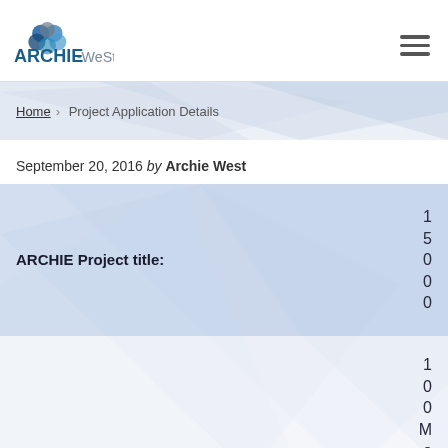[Figure (logo): ARCHIE-WeSt logo with colorful overlapping circles and text]
Home > Project Application Details
September 20, 2016 by Archie West
| ARCHIE Project title: | 15000 |
| --- | --- |
|  | 100Mo pt |